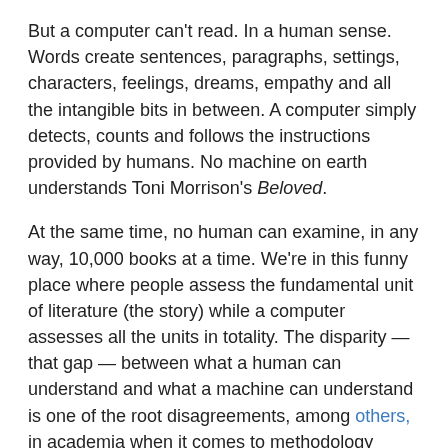But a computer can't read. In a human sense. Words create sentences, paragraphs, settings, characters, feelings, dreams, empathy and all the intangible bits in between. A computer simply detects, counts and follows the instructions provided by humans. No machine on earth understands Toni Morrison's Beloved.
At the same time, no human can examine, in any way, 10,000 books at a time. We're in this funny place where people assess the fundamental unit of literature (the story) while a computer assesses all the units in totality. The disparity — that gap — between what a human can understand and what a machine can understand is one of the root disagreements, among others, in academia when it comes to methodology around deploying computers to ask big questions about history.
Does a computer end up analyzing literature, itself or those who coded the question?
“Often times in the humanities, the idea of building a tool holds some sort of mysterious allure,” says Lauren Klein, a literature professor at Georgia Tech. She uses machine learning techniques in her own research, but notes, “They need to be accompanied by techniques that have been honed over time